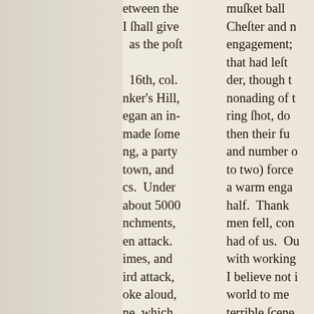[Figure (photo): Scanned page of an 18th-century printed book showing two columns of text, partially cropped on both sides. The left portion of the page shows a wide blank margin. The visible text fragments describe a military engagement, referencing Bunker's Hill, troop movements, and an attack.]